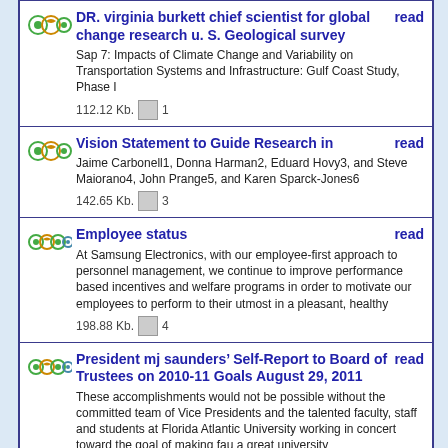DR. virginia burkett chief scientist for global change research u. S. Geological survey | Sap 7: Impacts of Climate Change and Variability on Transportation Systems and Infrastructure: Gulf Coast Study, Phase I | 112.12 Kb. 1 | read
Vision Statement to Guide Research in | Jaime Carbonell1, Donna Harman2, Eduard Hovy3, and Steve Maiorano4, John Prange5, and Karen Sparck-Jones6 | 142.65 Kb. 3 | read
Employee status | At Samsung Electronics, with our employee-first approach to personnel management, we continue to improve performance based incentives and welfare programs in order to motivate our employees to perform to their utmost in a pleasant, healthy | 198.88 Kb. 4 | read
President mj saunders’ Self-Report to Board of Trustees on 2010-11 Goals August 29, 2011 | These accomplishments would not be possible without the committed team of Vice Presidents and the talented faculty, staff and students at Florida Atlantic University working in concert toward the goal of making fau a great university | read